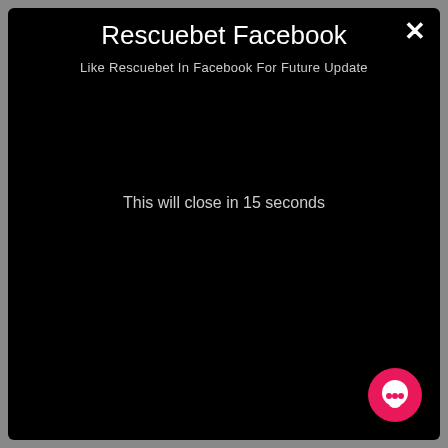Rescuebet Facebook
Like Rescuebet In Facebook For Future Update
This will close in 15 seconds
[Figure (illustration): Pink circular chat button with white speech bubble icon in bottom-right corner]